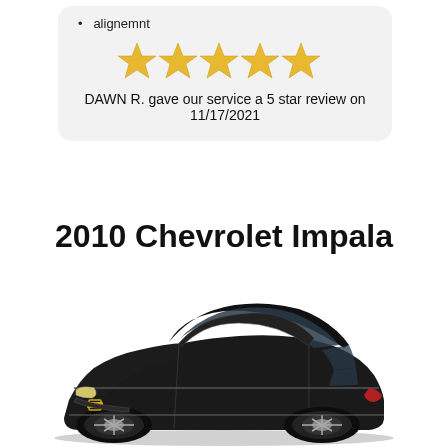alignemnt
[Figure (other): Five gold stars rating display]
DAWN R. gave our service a 5 star review on 11/17/2021
2010 Chevrolet Impala
[Figure (photo): Black 2010 Chevrolet Impala sedan, three-quarter front view]